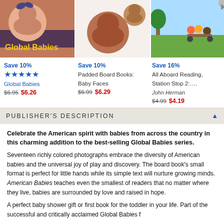[Figure (photo): Three book covers in a row: Global Babies (baby with pacifier), Padded Board Books: Baby Faces (two baby faces), All Aboard Reading Station Stop 2 (illustrated children on bikes)]
Save 10% ★★★★★ Global Babies $6.95 $6.26
Save 10% Padded Board Books: Baby Faces $6.99 $6.29
Save 16% All Aboard Reading, Station Stop 2:.... John Herman $4.99 $4.19
PUBLISHER'S DESCRIPTION
Celebrate the American spirit with babies from across the country in this charming addition to the best-selling Global Babies series.
Seventeen richly colored photographs embrace the diversity of American babies and the universal joy of play and discovery. The board book's small format is perfect for little hands while its simple text will nurture growing minds. American Babies teaches even the smallest of readers that no matter where they live, babies are surrounded by love and raised in hope.
A perfect baby shower gift or first book for the toddler in your life. Part of the successful and critically acclaimed Global Babies f